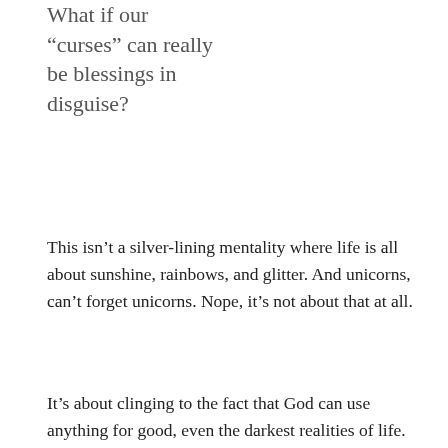What if our “curses” can really be blessings in disguise?
This isn’t a silver-lining mentality where life is all about sunshine, rainbows, and glitter. And unicorns, can’t forget unicorns. Nope, it’s not about that at all.
It’s about clinging to the fact that God can use anything for good, even the darkest realities of life. Sometimes God allows us to experience pain and frustration and the curveballs of life to shape us into the people He wants us to be.
What might seem like a tragedy may be exactly what God wants you to go through in the moment. It sounds backwards that God would send a disappointment as a blessing but maybe that disappointment steers you away from making a bad decision. Maybe the temporary disappointment is